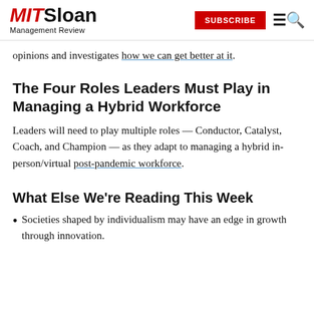MIT Sloan Management Review | SUBSCRIBE
opinions and investigates how we can get better at it.
The Four Roles Leaders Must Play in Managing a Hybrid Workforce
Leaders will need to play multiple roles — Conductor, Catalyst, Coach, and Champion — as they adapt to managing a hybrid in-person/virtual post-pandemic workforce.
What Else We’re Reading This Week
Societies shaped by individualism may have an edge in growth through innovation.